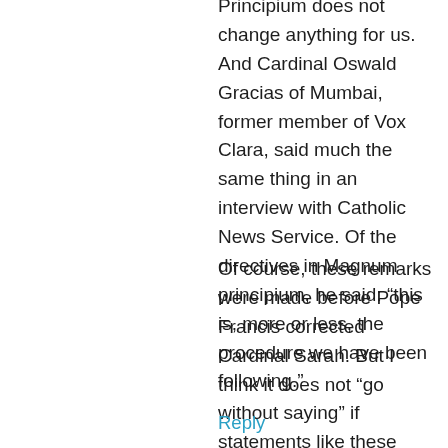Principium does not change anything for us. And Cardinal Oswald Gracias of Mumbai, former member of Vox Clara, said much the same thing in an interview with Catholic News Service. Of the directives in Magnum principium, he said: “this is, more or less, the procedure we have been following.”
Of course, these remarks were made before Pope Francis corrected Cardinal Sarah. But I think it does not “go without saying” if statements like these continue to be uttered. The conferences who gave in to the restructuring of ICEL under Medina need to reassert themselves.
Reply